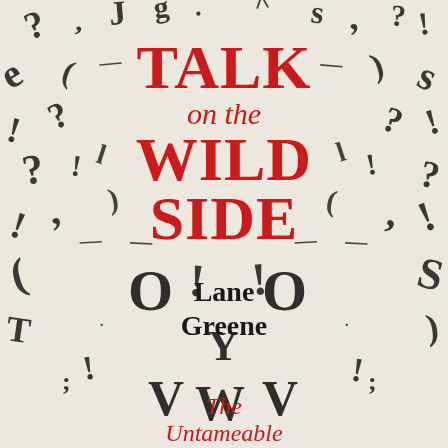[Figure (illustration): Book cover with scattered typographic punctuation marks and letters arranged to suggest a tiger face pattern on a light cream/beige background. Characters include question marks, exclamation marks, commas, semicolons, parentheses, and various letters in black ink arranged symmetrically.]
TALK on the WILD SIDE
Lane Greene
The Untameable